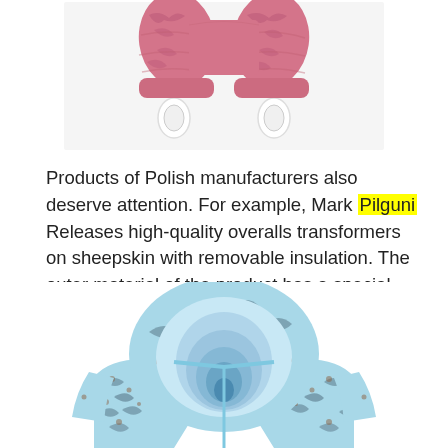[Figure (photo): Pink patterned baby overalls/pants with white buckle clips, viewed from the back/front, on a white background]
Products of Polish manufacturers also deserve attention. For example, Mark Pilguni Releases high-quality overalls transformers on sheepskin with removable insulation. The outer material of the product has a special moisture-resistant impregnation.
[Figure (photo): Light blue and brown floral patterned baby snowsuit/overall with hood, viewed from the front/top showing the hood opening, on a white background]